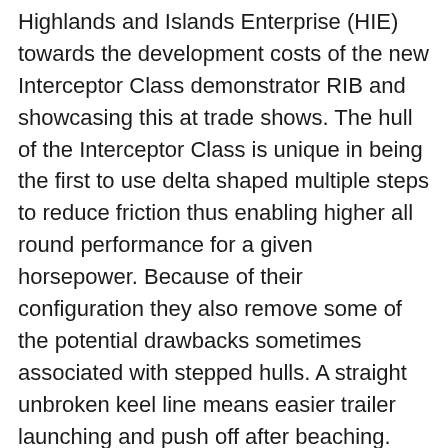Highlands and Islands Enterprise (HIE) towards the development costs of the new Interceptor Class demonstrator RIB and showcasing this at trade shows. The hull of the Interceptor Class is unique in being the first to use delta shaped multiple steps to reduce friction thus enabling higher all round performance for a given horsepower. Because of their configuration they also remove some of the potential drawbacks sometimes associated with stepped hulls. A straight unbroken keel line means easier trailer launching and push off after beaching. The hull is believed to be the first of its type in the world to offer water jet propulsion with a stepped hull.
This Barry Carson design was developed from many years designing fast craft for the professional market used in more than 20 countries worldwide over several decades. Available in three sizes, 7.5, 8.5 and 9.5 metres they can be outfitted for a wide variety of roles from general workboat duties to special forces operations. They offer even greater operational range, load capacity, crew safety, sea keeping and more being cut at the top of the page.